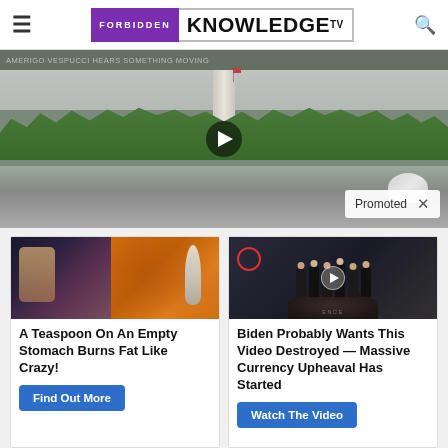Forbidden Knowledge TV
[Figure (screenshot): Video thumbnail showing aerial view of Washington DC with Washington Monument and Capitol building, with a play button overlay and 'Promoted X' badge]
[Figure (photo): Ad image showing fitness model and spice on a spoon]
A Teaspoon On An Empty Stomach Burns Fat Like Crazy!
Find Out More
[Figure (photo): Ad image showing group of people in suits at CIA headquarters lobby]
Biden Probably Wants This Video Destroyed — Massive Currency Upheaval Has Started
Watch The Video